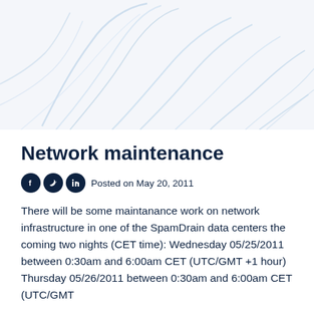[Figure (illustration): Decorative background image with light blue curved line patterns on a white/light grey background, resembling abstract topographic or flow lines.]
Network maintenance
Posted on May 20, 2011
There will be some maintanance work on network infrastructure in one of the SpamDrain data centers the coming two nights (CET time): Wednesday 05/25/2011 between 0:30am and 6:00am CET (UTC/GMT +1 hour) Thursday 05/26/2011 between 0:30am and 6:00am CET (UTC/GMT